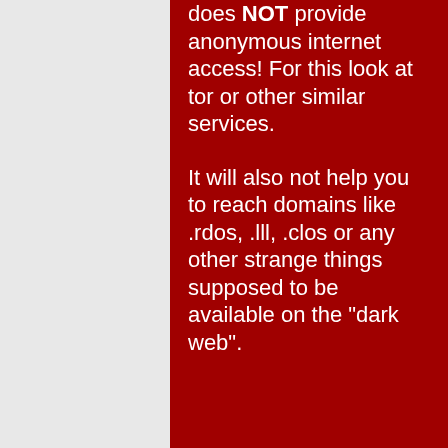does NOT provide anonymous internet access! For this look at tor or other similar services.
It will also not help you to reach domains like .rdos, .lll, .clos or any other strange things supposed to be available on the "dark web".